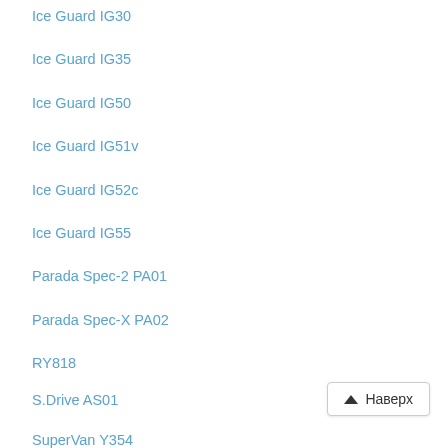Ice Guard IG30
Ice Guard IG35
Ice Guard IG50
Ice Guard IG51v
Ice Guard IG52c
Ice Guard IG55
Parada Spec-2 PA01
Parada Spec-X PA02
RY818
S.Drive AS01
SuperVan Y354